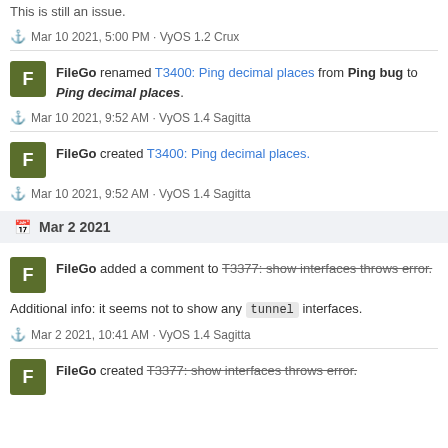This is still an issue.
⚓ Mar 10 2021, 5:00 PM · VyOS 1.2 Crux
FileGo renamed T3400: Ping decimal places from Ping bug to Ping decimal places.
⚓ Mar 10 2021, 9:52 AM · VyOS 1.4 Sagitta
FileGo created T3400: Ping decimal places.
⚓ Mar 10 2021, 9:52 AM · VyOS 1.4 Sagitta
Mar 2 2021
FileGo added a comment to T3377: show interfaces throws error.
Additional info: it seems not to show any tunnel interfaces.
⚓ Mar 2 2021, 10:41 AM · VyOS 1.4 Sagitta
FileGo created T3377: show interfaces throws error.